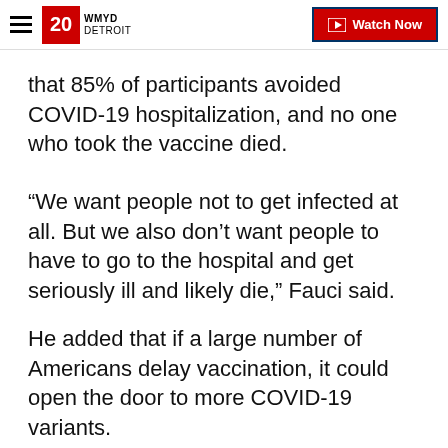WMYD DETROIT | Watch Now
that 85% of participants avoided COVID-19 hospitalization, and no one who took the vaccine died.
“We want people not to get infected at all. But we also don’t want people to have to go to the hospital and get seriously ill and likely die,” Fauci said.
He added that if a large number of Americans delay vaccination, it could open the door to more COVID-19 variants.
"This is a race, Savannah, between the virus and getting vaccines into people," Fauci said. "The longer one waits on getting vaccinated, the better chance the